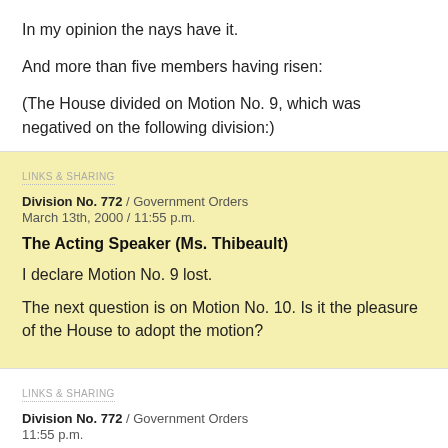In my opinion the nays have it.
And more than five members having risen:
(The House divided on Motion No. 9, which was negatived on the following division:)
LINKS & SHARING
Division No. 772 / Government Orders
March 13th, 2000 / 11:55 p.m.
The Acting Speaker (Ms. Thibeault)
I declare Motion No. 9 lost.
The next question is on Motion No. 10. Is it the pleasure of the House to adopt the motion?
LINKS & SHARING
Division No. 772 / Government Orders
11:55 p.m.